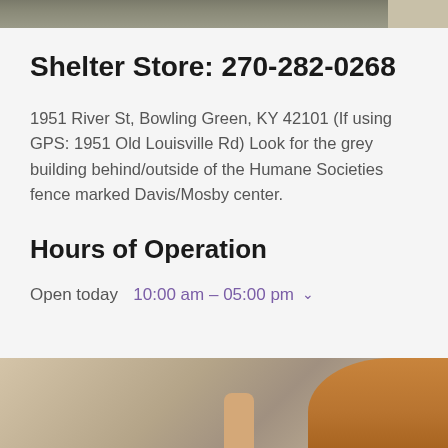[Figure (photo): Top portion of an outdoor photo, partial view of a building or outdoor scene with grey/brown tones]
Shelter Store: 270-282-0268
1951 River St, Bowling Green, KY 42101 (If using GPS: 1951 Old Louisville Rd) Look for the grey building behind/outside of the Humane Societies fence marked Davis/Mosby center.
Hours of Operation
Open today  10:00 am – 05:00 pm  ∨
[Figure (photo): Bottom portion showing a person with long reddish-brown hair and a raised hand, appears to be a child or person at a wooden surface]